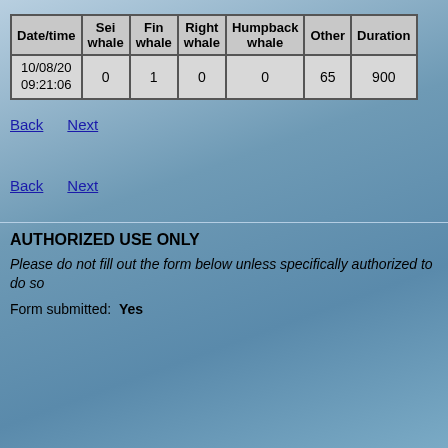| Date/time | Sei whale | Fin whale | Right whale | Humpback whale | Other | Duration |
| --- | --- | --- | --- | --- | --- | --- |
| 10/08/20 09:21:06 | 0 | 1 | 0 | 0 | 65 | 900 |
Back   Next
Back   Next
AUTHORIZED USE ONLY
Please do not fill out the form below unless specifically authorized to do so
Form submitted:  Yes